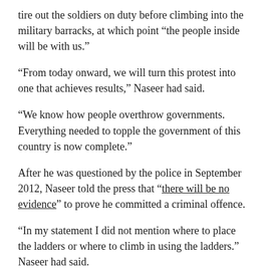tire out the soldiers on duty before climbing into the military barracks, at which point “the people inside will be with us.”
“From today onward, we will turn this protest into one that achieves results,” Naseer had said.
“We know how people overthrow governments. Everything needed to topple the government of this country is now complete.”
After he was questioned by the police in September 2012, Naseer told the press that “there will be no evidence” to prove he committed a criminal offence.
“In my statement I did not mention where to place the ladders or where to climb in using the ladders.” Naseer had said.